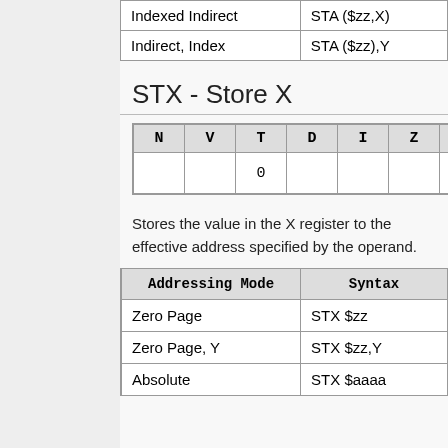| Addressing Mode | Syntax |
| --- | --- |
| Indexed Indirect | STA ($zz,X) |
| Indirect, Index | STA ($zz),Y |
STX - Store X
| N | V | T | D | I | Z | C |
| --- | --- | --- | --- | --- | --- | --- |
|  |  | 0 |  |  |  |  |
Stores the value in the X register to the effective address specified by the operand.
| Addressing Mode | Syntax |
| --- | --- |
| Zero Page | STX $zz |
| Zero Page, Y | STX $zz,Y |
| Absolute | STX $aaaa |
STY - Store Y
| N | V | T | D | I | Z | C |
| --- | --- | --- | --- | --- | --- | --- |